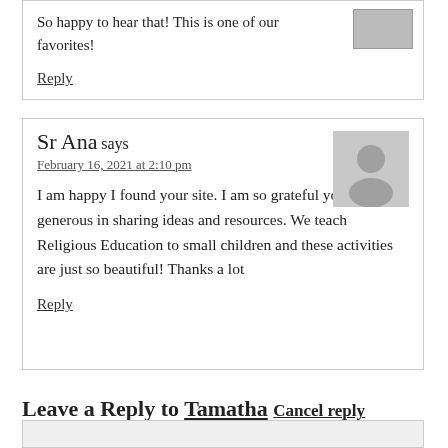So happy to hear that! This is one of our favorites!
Reply
Sr Ana says
February 16, 2021 at 2:10 pm
I am happy I found your site. I am so grateful you are so generous in sharing ideas and resources. We teach Religious Education to small children and these activities are just so beautiful! Thanks a lot
Reply
Leave a Reply to Tamatha Cancel reply
[Figure (other): Comment text area input box]